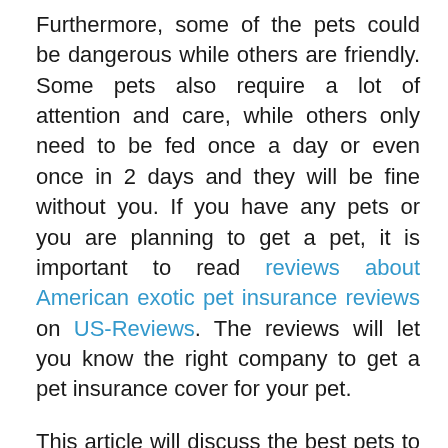Furthermore, some of the pets could be dangerous while others are friendly. Some pets also require a lot of attention and care, while others only need to be fed once a day or even once in 2 days and they will be fine without you. If you have any pets or you are planning to get a pet, it is important to read reviews about American exotic pet insurance reviews on US-Reviews. The reviews will let you know the right company to get a pet insurance cover for your pet.

This article will discuss the best pets to have in an American house.